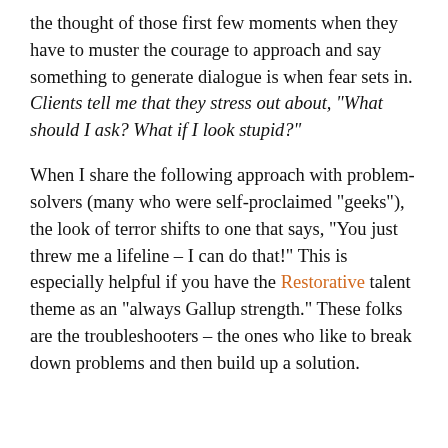the thought of those first few moments when they have to muster the courage to approach and say something to generate dialogue is when fear sets in. Clients tell me that they stress out about, "What should I ask? What if I look stupid?"
When I share the following approach with problem-solvers (many who were self-proclaimed "geeks"), the look of terror shifts to one that says, "You just threw me a lifeline – I can do that!" This is especially helpful if you have the Restorative talent theme as an "always Gallup strength." These folks are the troubleshooters – the ones who like to break down problems and then build up a solution.